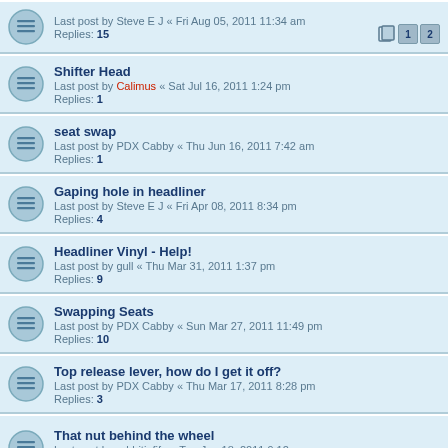Last post by Steve E J « Fri Aug 05, 2011 11:34 am
Replies: 15
Shifter Head
Last post by Calimus « Sat Jul 16, 2011 1:24 pm
Replies: 1
seat swap
Last post by PDX Cabby « Thu Jun 16, 2011 7:42 am
Replies: 1
Gaping hole in headliner
Last post by Steve E J « Fri Apr 08, 2011 8:34 pm
Replies: 4
Headliner Vinyl - Help!
Last post by gull « Thu Mar 31, 2011 1:37 pm
Replies: 9
Swapping Seats
Last post by PDX Cabby « Sun Mar 27, 2011 11:49 pm
Replies: 10
Top release lever, how do I get it off?
Last post by PDX Cabby « Thu Mar 17, 2011 8:28 pm
Replies: 3
That nut behind the wheel
Last post by rabbitinfife « Tue Jan 18, 2011 9:12 pm
Replies: 15
Hvac in my 1990 Cabby
Last post by ED-EX « Thu Dec 09, 2010 12:09 am
Replies: 10